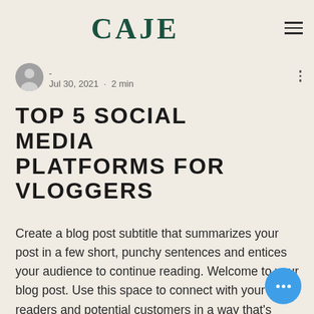CAJE
- · Jul 30, 2021 · 2 min
TOP 5 SOCIAL MEDIA PLATFORMS FOR VLOGGERS
Create a blog post subtitle that summarizes your post in a few short, punchy sentences and entices your audience to continue reading. Welcome to your blog post. Use this space to connect with your readers and potential customers in a way that's current and interesting. Think of it as an ongoing conversation where you can share